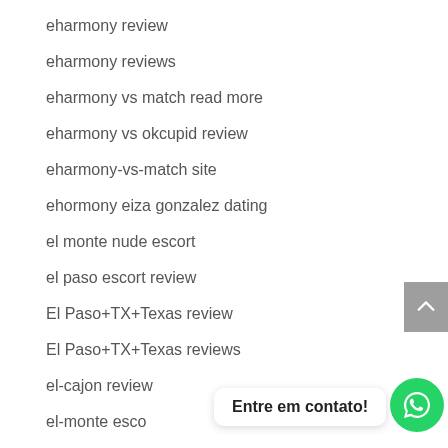eharmony review
eharmony reviews
eharmony vs match read more
eharmony vs okcupid review
eharmony-vs-match site
ehormony eiza gonzalez dating
el monte nude escort
el paso escort review
El Paso+TX+Texas review
El Paso+TX+Texas reviews
el-cajon review
el-monte esco
Elite Dating hookup